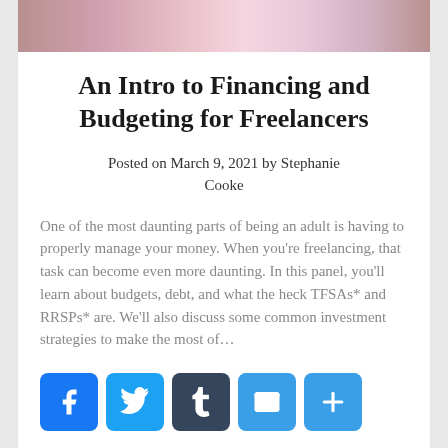[Figure (photo): Cropped top portion of a hero image showing colorful financial-themed illustration with cards/money]
An Intro to Financing and Budgeting for Freelancers
Posted on March 9, 2021 by Stephanie Cooke
One of the most daunting parts of being an adult is having to properly manage your money. When you're freelancing, that task can become even more daunting. In this panel, you'll learn about budgets, debt, and what the heck TFSAs* and RRSPs* are. We'll also discuss some common investment strategies to make the most of…
[Figure (infographic): Social media sharing icons: Facebook (blue), Twitter (blue), Tumblr (dark), Email (blue), More/Plus (blue)]